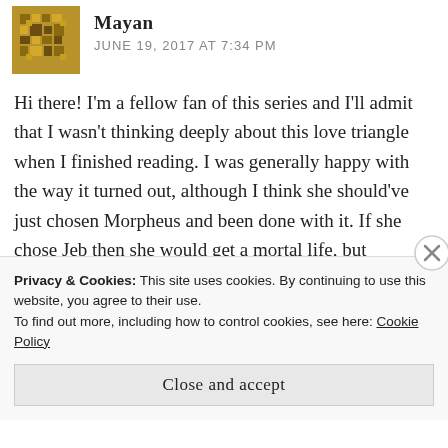[Figure (illustration): Gold/brown pixel-art avatar icon (Mayan/Aztec style pattern)]
Mayan
JUNE 19, 2017 AT 7:34 PM
Hi there! I'm a fellow fan of this series and I'll admit that I wasn't thinking deeply about this love triangle when I finished reading. I was generally happy with the way it turned out, although I think she should've just chosen Morpheus and been done with it. If she chose Jeb then she would get a mortal life, but Wonderland needs her. I thought about you said about how near the end it feels like she owes Jeb more than loves him and I honestly really agree. I
Privacy & Cookies: This site uses cookies. By continuing to use this website, you agree to their use.
To find out more, including how to control cookies, see here: Cookie Policy
Close and accept